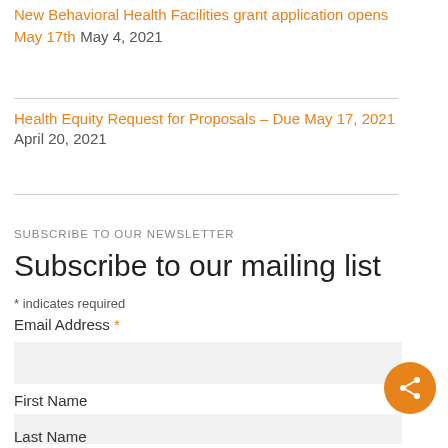New Behavioral Health Facilities grant application opens May 17th May 4, 2021
Health Equity Request for Proposals – Due May 17, 2021 April 20, 2021
SUBSCRIBE TO OUR NEWSLETTER
Subscribe to our mailing list
* indicates required
Email Address *
First Name
Last Name